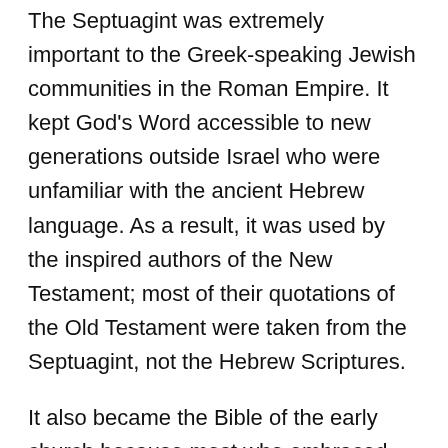The Septuagint was extremely important to the Greek-speaking Jewish communities in the Roman Empire. It kept God's Word accessible to new generations outside Israel who were unfamiliar with the ancient Hebrew language. As a result, it was used by the inspired authors of the New Testament; most of their quotations of the Old Testament were taken from the Septuagint, not the Hebrew Scriptures.
It also became the Bible of the early church because most who embraced Christianity spoke Greek. The LXX was the perfect complement to the Greek New Testament,